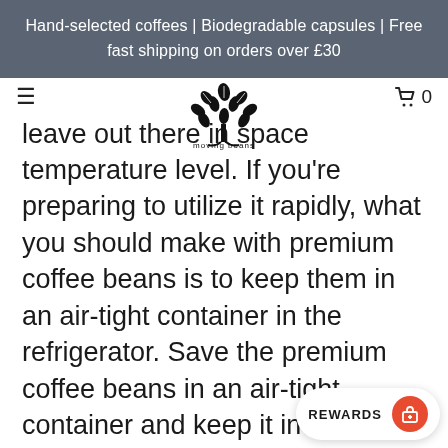Hand-selected coffees | Biodegradable capsules | Free fast shipping on orders over £30
[Figure (logo): Moving Beans logo: a tree made of coffee beans with the text 'moving beans' below it]
leave out there in space temperature level. If you're preparing to utilize it rapidly, what you should make with premium coffee beans is to keep them in an air-tight container in the refrigerator. Save the premium coffee beans in an air-tight container and keep it in the FREEZER if you're going to ‘...